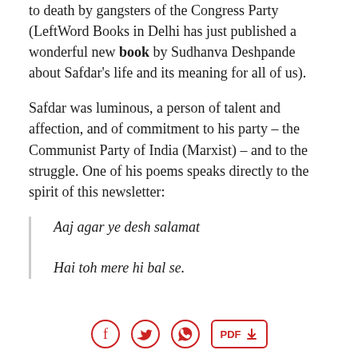to death by gangsters of the Congress Party (LeftWord Books in Delhi has just published a wonderful new book by Sudhanva Deshpande about Safdar's life and its meaning for all of us).
Safdar was luminous, a person of talent and affection, and of commitment to his party – the Communist Party of India (Marxist) – and to the struggle. One of his poems speaks directly to the spirit of this newsletter:
Aaj agar ye desh salamat
Hai toh mere hi bal se.
Social share icons: Facebook, Twitter, WhatsApp, PDF download